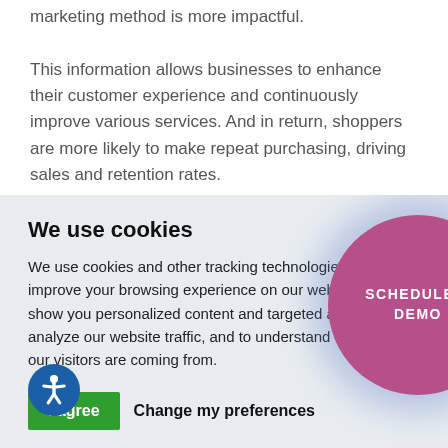marketing method is more impactful. This information allows businesses to enhance their customer experience and continuously improve various services. And in return, shoppers are more likely to make repeat purchasing, driving sales and retention rates.
We use cookies
We use cookies and other tracking technologies to improve your browsing experience on our website, to show you personalized content and targeted ads, to analyze our website traffic, and to understand where our visitors are coming from.
[Figure (other): Purple circle button with white uppercase text reading SCHEDULE A DEMO with a blue glow shadow]